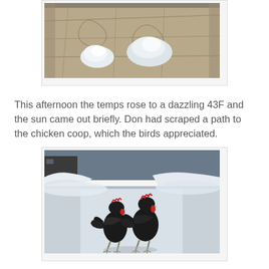[Figure (photo): Photo of two lumps of snow/ice on a stone or patterned surface, partially cropped at top of page]
This afternoon the temps rose to a dazzling 43F and the sun came out briefly. Don had scraped a path to the chicken coop, which the birds appreciated.
[Figure (photo): Photo of two black chickens standing on a cleared snowy path, with piled snow banks on either side]